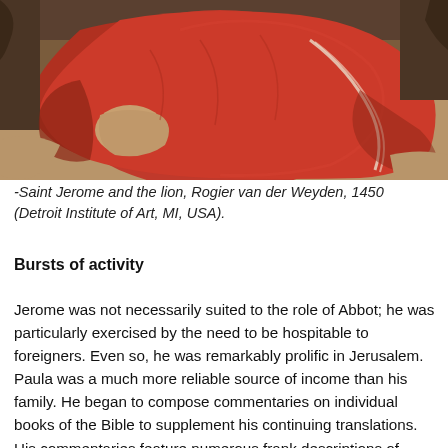[Figure (photo): Painting detail showing a figure in red robes reclining, from Saint Jerome and the lion by Rogier van der Weyden, 1450]
-Saint Jerome and the lion, Rogier van der Weyden, 1450 (Detroit Institute of Art, MI, USA).
Bursts of activity
Jerome was not necessarily suited to the role of Abbot; he was particularly exercised by the need to be hospitable to foreigners. Even so, he was remarkably prolific in Jerusalem. Paula was a much more reliable source of income than his family. He began to compose commentaries on individual books of the Bible to supplement his continuing translations. His commentaries feature numerous frank descriptions of those who had offended him, or challenged his opinions. The